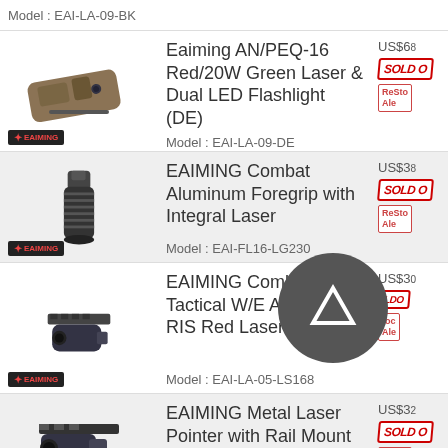Model : EAI-LA-09-BK
[Figure (photo): Eaiming AN/PEQ-16 laser device in dark earth color with brand logo]
Eaiming AN/PEQ-16 Red/20W Green Laser & Dual LED Flashlight (DE)
Model : EAI-LA-09-DE
US$68
[Figure (photo): EAIMING Combat Aluminum Foregrip with Integral Laser product photo]
EAIMING Combat Aluminum Foregrip with Integral Laser
Model : EAI-FL16-LG230
US$38
[Figure (photo): EAIMING Combat Tactical W/E Adjustable RIS Red Laser Sight product photo]
EAIMING Combat Tactical W/E Adjustable RIS Red Laser Sight
Model : EAI-LA-05-LS168
US$30
[Figure (photo): EAIMING Metal Laser Pointer with Rail Mount (Green Laser) product photo]
EAIMING Metal Laser Pointer with Rail Mount (Green Laser)
US$32